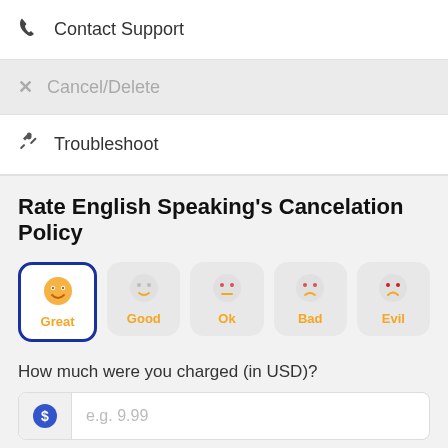📞 Contact Support
✕ Cancel/Delete
⚙ Troubleshoot
Rate English Speaking's Cancelation Policy
[Figure (infographic): Rating emoji buttons: Great (selected, with blue border), Good, Ok, Bad, Evil]
How much were you charged (in USD)?
e.g. 9.99